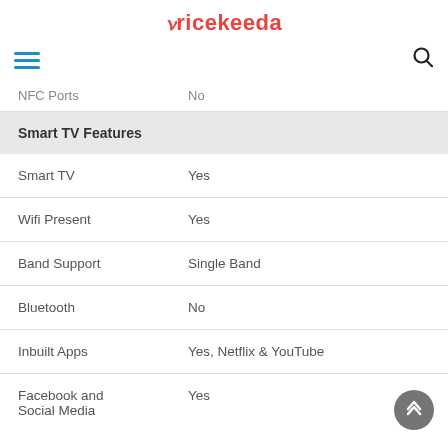Pricekeeda
| Feature | Value |
| --- | --- |
| NFC Ports | No |
| Smart TV Features |  |
| Smart TV | Yes |
| Wifi Present | Yes |
| Band Support | Single Band |
| Bluetooth | No |
| Inbuilt Apps | Yes, Netflix & YouTube |
| Facebook and Social Media | Yes |